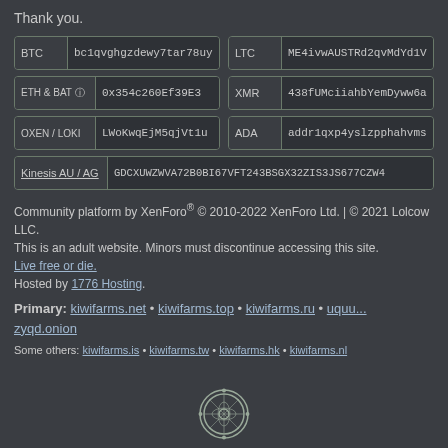Thank you.
| Label | Address |
| --- | --- |
| BTC | bc1qvghgzdewy7tar78uy... |
| LTC | ME4ivwAUSTRd2qvMdYd1V... |
| ETH & BAT (?) | 0x354c260Ef39E3... |
| XMR | 438fUMciiahbYemDyww6a... |
| OXEN / LOKI | LWoKwqEjM5qjVt1u... |
| ADA | addr1qxp4yslzpphahvms... |
| Kinesis AU / AG | GDCXUWZWVA72B0BI67VFT243BSGX32ZIS3JS677CZW4... |
Community platform by XenForo® © 2010-2022 XenForo Ltd. | © 2021 Lolcow LLC.
This is an adult website. Minors must discontinue accessing this site.
Live free or die.
Hosted by 1776 Hosting.
Primary: kiwifarms.net • kiwifarms.top • kiwifarms.ru • uquu...zyqd.onion
Some others: kiwifarms.is • kiwifarms.tw • kiwifarms.hk • kiwifarms.nl
[Figure (illustration): A circular seal/emblem in gray outline style]